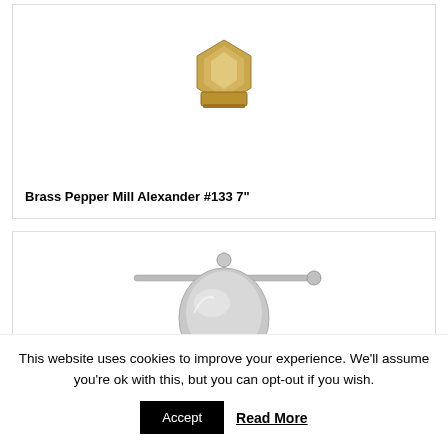[Figure (photo): Top portion of a brass pepper mill (Alexander #133 7") showing the gold/brass colored hexagonal top cap]
Brass Pepper Mill Alexander #133 7"
[Figure (photo): Silver/chrome pepper mill with a horizontal crank handle on top, dome-shaped body with decorative ridged base]
This website uses cookies to improve your experience. We'll assume you're ok with this, but you can opt-out if you wish.
Accept
Read More